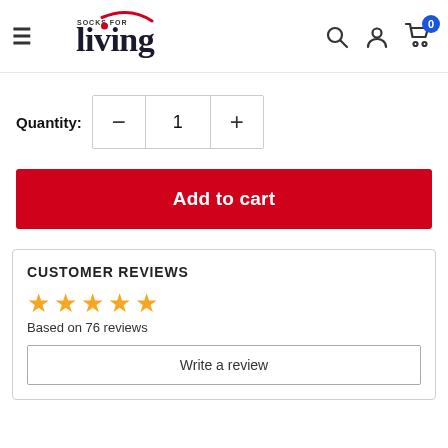Socks for Living — navigation header with logo, search, account, cart
Quantity: 1
Add to cart
CUSTOMER REVIEWS
Based on 76 reviews
Write a review